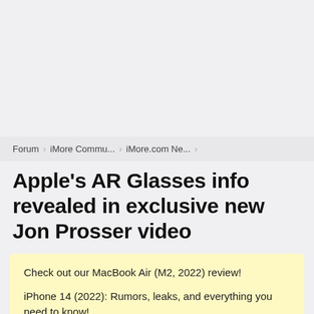Forum › iMore Commu... › iMore.com Ne... ›
Apple's AR Glasses info revealed in exclusive new Jon Prosser video
Check out our MacBook Air (M2, 2022) review!
iPhone 14 (2022): Rumors, leaks, and everything you need to know!